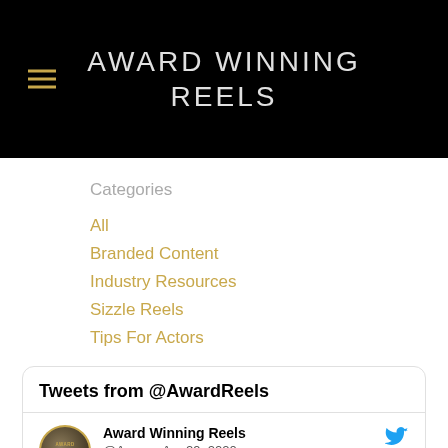AWARD WINNING REELS
Categories
All
Branded Content
Industry Resources
Sizzle Reels
Tips For Actors
Tweets from @AwardReels
Award Winning Reels @Awa... · Apr 29, 2020